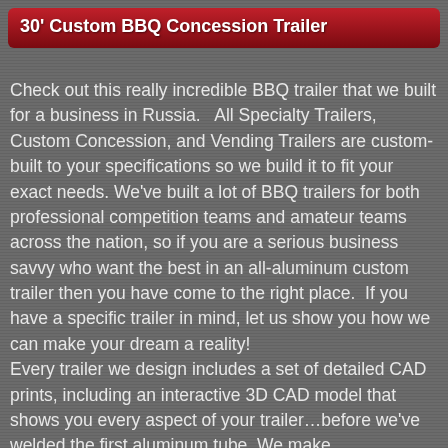30' Custom BBQ Concession Trailer
Check out this really incredible BBQ trailer that we built for a business in Russia.   All Specialty Trailers, Custom Concession, and Vending Trailers are custom-built to your specifications so we build it to fit your exact needs. We've built a lot of BBQ trailers for both professional competition teams and amateur teams across the nation, so if you are a serious business savvy who want the best in an all-aluminum custom trailer then you have come to the right place.  If you have a specific trailer in mind, let us show you how we can make your dream a reality!
Every trailer we design includes a set of detailed CAD prints, including an interactive 3D CAD model that shows you every aspect of your trailer…before we've welded the first aluminum tube. We make